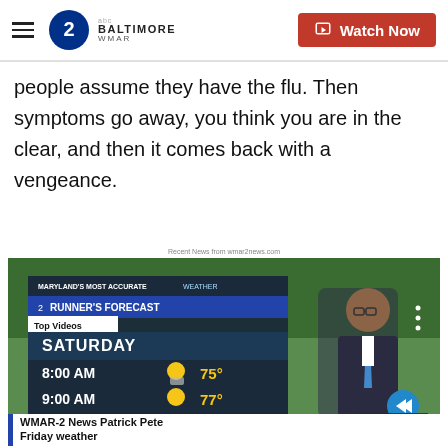WMAR-2 Baltimore | Watch Now
people assume they have the flu. Then symptoms go away, you think you are in the clear, and then it comes back with a vengeance.
Recent News from wmar2news.com
[Figure (screenshot): WMAR-2 News weather forecast video thumbnail showing Saturday runner's forecast: 8:00 AM 75°, 9:00 AM 77°, 10:00 AM 81°. A news anchor in a suit stands to the right. Bottom bar reads 'WMAR-2 News Patrick Pete Friday weather'. Top Videos label visible.]